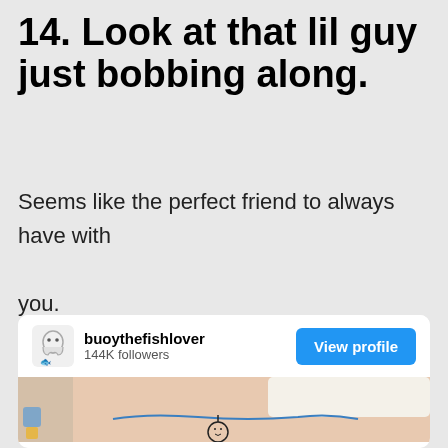14. Look at that lil guy just bobbing along.
Seems like the perfect friend to always have with you.
[Figure (screenshot): Instagram-style profile card for user 'buoythefishlover' with 144K followers and a 'View profile' blue button, followed by a photo of a tattoo on an arm showing a small buoy/fish character on water lines.]